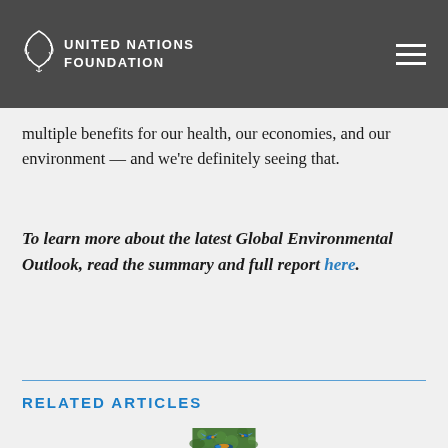UNITED NATIONS FOUNDATION
multiple benefits for our health, our economies, and our environment — and we're definitely seeing that.
To learn more about the latest Global Environmental Outlook, read the summary and full report here.
RELATED ARTICLES
[Figure (photo): Two colorful kingfisher birds in flight over green foliage background]